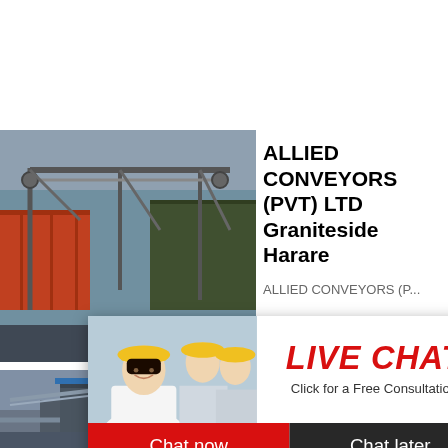[Figure (photo): Industrial conveyor belt system with metal framework and shipping containers in background]
ALLIED CONVEYORS (PVT) LTD Graniteside Harare
ALLIED CONVEYORS (P...
[Figure (photo): Live Chat popup overlay with workers in yellow hard hats, red LIVE CHAT heading, 'Click for a Free Consultation' text, Chat now and Chat later buttons]
[Figure (photo): Industrial plant with conveyor structures and piping]
Makom... funding... belt ... -
2020-9-8...
[Figure (photo): Blue sidebar with crusher machine image, 'hour online' text, 'Click me to chat>>' button, Enquiry button, limingjlmofen text]